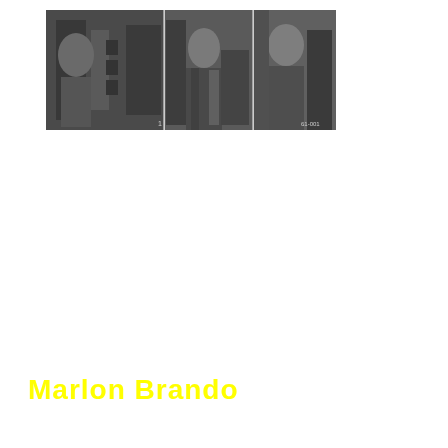[Figure (photo): A horizontal strip of three black-and-white film stills showing a figure near a door or industrial setting.]
Marlon Brando